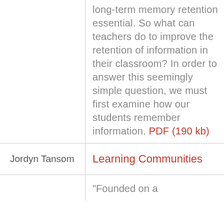long-term memory retention essential. So what can teachers do to improve the retention of information in their classroom? In order to answer this seemingly simple question, we must first examine how our students remember information. PDF (190 kb)
Jordyn Tansom
Learning Communities
"Founded on a